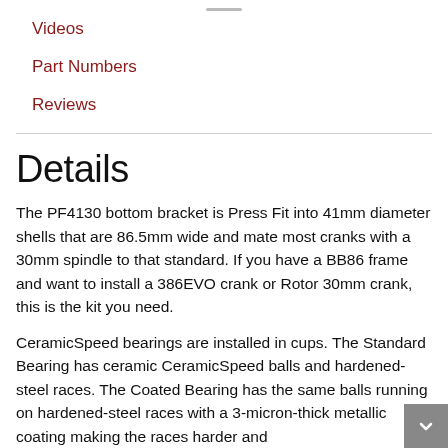Videos
Part Numbers
Reviews
Details
The PF4130 bottom bracket is Press Fit into 41mm diameter shells that are 86.5mm wide and mate most cranks with a 30mm spindle to that standard. If you have a BB86 frame and want to install a 386EVO crank or Rotor 30mm crank, this is the kit you need.
CeramicSpeed bearings are installed in cups. The Standard Bearing has ceramic CeramicSpeed balls and hardened-steel races. The Coated Bearing has the same balls running on hardened-steel races with a 3-micron-thick metallic coating making the races harder and